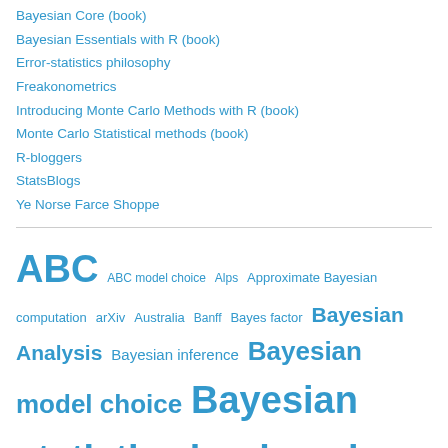Bayesian Core (book)
Bayesian Essentials with R (book)
Error-statistics philosophy
Freakonometrics
Introducing Monte Carlo Methods with R (book)
Monte Carlo Statistical methods (book)
R-bloggers
StatsBlogs
Ye Norse Farce Shoppe
ABC  ABC model choice  Alps  Approximate Bayesian computation  arXiv  Australia  Banff  Bayes factor  Bayesian Analysis  Bayesian inference  Bayesian model choice  Bayesian statistics  book review  book reviews  Canada  CHANCE  CIRM  conference  coronavirus epidemics  COVID-19  CREST